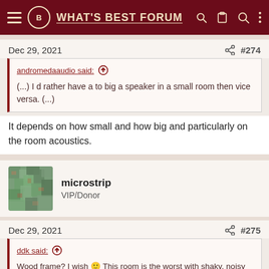WHAT'S BEST FORUM
Dec 29, 2021  #274
andromedaaudio said:
(...) I d rather have a to big a speaker in a small room then vice versa. (...)
It depends on how small and how big and particularly on the room acoustics.
[Figure (photo): Avatar photo of user microstrip]
microstrip
VIP/Donor
Dec 29, 2021  #275
ddk said:
Wood frame? I wish 🙂 This room is the worst with shaky, noisy